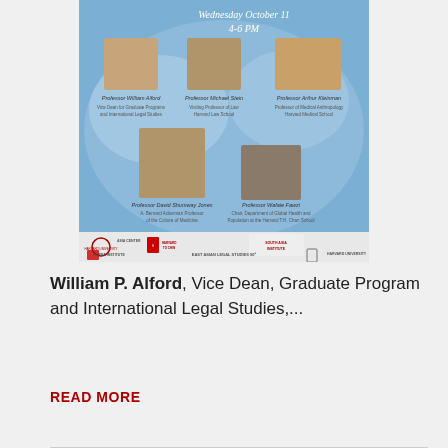[Figure (photo): Event flyer for a Harvard panel discussion on Wednesday October 11, 4-6 PM, featuring photos and names of five professors: William Alford, Michael Stein, Arthur Kleinman, David Shumway Jones, and Wafaie Fawzi, with Harvard institutional logos at the bottom.]
William P. Alford, Vice Dean, Graduate Program and International Legal Studies,...
READ MORE